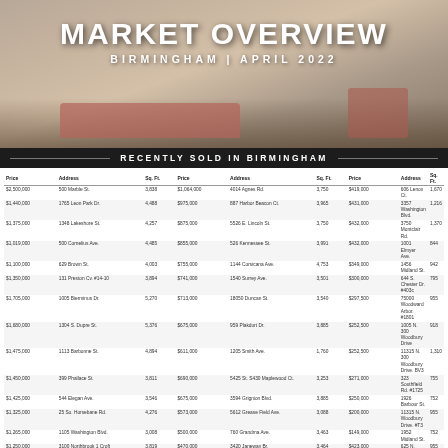[Figure (photo): Interior photo of a modern living room with pink/red sofa and chairs, used as hero background image for market overview header]
MARKET OVERVIEW
BIRMINGHAM | APRIL 2022
RECENTLY SOLD IN BIRMINGHAM
| Price | Address | Sq. Ft. | Price | Address | Sq. Ft. | Price | Address | Sq. Ft. |
| --- | --- | --- | --- | --- | --- | --- | --- | --- |
| $2,500,000 | 500 Marble St. | 3,838 | $1,064,000 | 4014 Agnes Rd. | 3,750 | $419,000 | 606 Lenox Ct. | 1,670 |
| $1,440,000 | 1765 Leon Park Dr. | 4,488 | $975,000 | 887 Harbor Beacon Ct. | 3,965 | $431,000 | 3357 Washington Blvd. | 1,216 |
| $1,375,000 | 1348 Lakeshore St. | 4,257 | $875,000 | 5526 E. Lincoln St. | 3,750 | $432,000 | 3750 Montclair Rd. | 1,370 |
| $1,019,000 | 500 Cornelius Ave. | 4,485 | $855,000 | 526 Kennessee St. | 3,991 | $432,000 | 1001 Elmyer Ave. | 844 |
| $1,100,000 | 629 Brown St. | 4,003 | $755,000 | 1144 Corsicana Ave. | 4,753 | $349,000 | 1456 Midland St. | 942 |
| $1,350,000 | 131 Preston Cv. #14-10 | 3,894 | $741,000 | 1540 Surrey Ave. | 3,501 | $300,000 | 644 S. Chester Dr. #403c | 795 |
| $1,705,000 | 1005 Bierminus Dr. | 5,270 | $713,000 | 18050 Duncan St. | 3,540 | $297,500 | 75000 Woodward Arbor. #1801 | 955 |
| $1,680,000 | 1304 S. Dupre St. | 5,376 | $675,000 | 959 Plakdurt Dr. | 3,885 | $252,500 | 1005 N. 300 Woodbury Drive | 918 |
| $1,475,000 | 1113 Barbonne St. | 4,894 | $611,000 | 1205 Smith Ave. | 1,760 | $252,500 | 11315 N. 300 Woodbury Drive. BV3 | 1,310 |
| $1,450,000 | 399 Phallace St. | 3,811 | $690,000 | 5425 St. S430 Maplewood Ct. | 3,253 | $271,000 | 323 Southfield Rd. #1725 | 755 |
| $1,425,000 | 544 Elegan Ave. | 3,546 | $675,000 | 3594 Grignion Blvd. | 3,885 | $250,000 | 1926 Barbour St. | 752 |
| $1,325,000 | 25 So. Horsebane Rd. | 4,276 | $573,000 | 5612 Grease Field Ave. | 3,088 | $200,000 | 11315 N. Woodbury Drive. #T3 | 955 |
| $1,265,000 | 1105 Washington Blvd. | 3,008 | $500,000 | 760 Grandma Ave. | 3,463 | $149,000 | 1952 Midland St. | 752 |
| $1,250,000 | 3100 Northbrook 1 Croft | 3,819 | $470,000 | 3420 Janeway Br. | 3,464 | $423,000 | 625 N. Elem St. #44726 | 955 |
| $1,225,000 | 620 Bloomfield St. | 3,447 | $440,000 | 418 Park St. | 3,144 | $210,000 | 304 N. Elm St. #19 | 440 |
| $1,125,000 | 625 Dunnar Ave. | 3,050 | $430,000 | 1324 Humphreys Ave. | 3,501 | $143,000 | 1135 E. Appleton Pike Rd. #1175c | 583 |
| $1,125,000 | 1643 Baker St. | 3,008 | $426,000 | 1155 Linwood St. | 3,440 | $135,000 | 11312 E. la Rive Rd. #19 | 500 |
| $1,000,000 | 211 Monagan St. | 4,311 | $429,000 | 1215 Coulter Rd. | 1,546 |  |  |  |
* Prices are currently working with a REALTOR®. Our marketing pieces are not intended as a solicitation or a listing. Data pulled from RealComp, 3/31 – 5/06/22.
[Figure (photo): Agent photo section with Amy Zimmer and Tiffany Glime, contact information, and The Agency Hall & Hunter branding]
AMY ZIMMER
ASSOCIATE BROKER
c. 248.449.4438
azimmer@theagencyre.com

TIFFANY GLIME
REALTOR®
c. 248.930.5606
tglime@theagencyre.com
LET'S STAY CONNECTED
www.ZimmerGlimeRealEstate.com
@ZimmerGlimeRealEstate
@ZimmerGlimeRealEstate
THE AGENCY HALL & HUNTER
442 S. Old Woodward Avenue | Birmingham, MI 48009 | THEAGENCYRE.COM
Birmingham Market